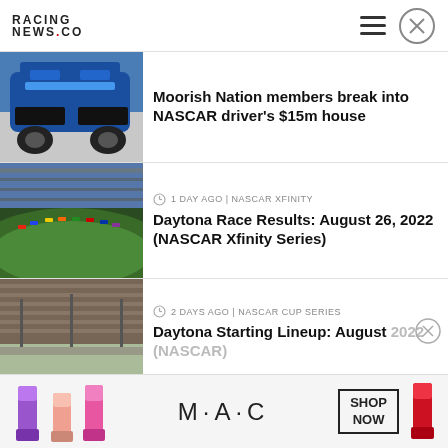RACING NEWS.CO
[Figure (photo): Blue NASCAR race car, front view close-up]
Moorish Nation members break into NASCAR driver's $15m house
[Figure (photo): Aerial view of NASCAR race with multiple cars on track]
1 DAY AGO | NASCAR XFINITY
Daytona Race Results: August 26, 2022 (NASCAR Xfinity Series)
[Figure (photo): Aerial view of Daytona speedway packed with spectators]
2 DAYS AGO | NASCAR CUP SERIES
Daytona Starting Lineup: August 2022 (NASCAR)
[Figure (photo): MAC Cosmetics advertisement with lipsticks, MAC logo, and SHOP NOW button]